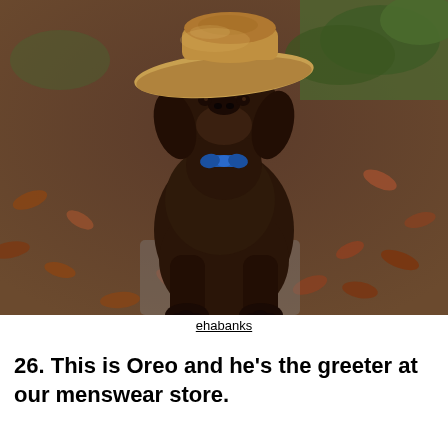[Figure (photo): A dark chocolate brown Labrador Retriever dog sitting outdoors on a gravel/leaf-covered ground, wearing a straw cowboy hat on its head and a blue bow tie or collar. Green ferns and trees are visible in the background.]
ehabanks
26. This is Oreo and he's the greeter at our menswear store.